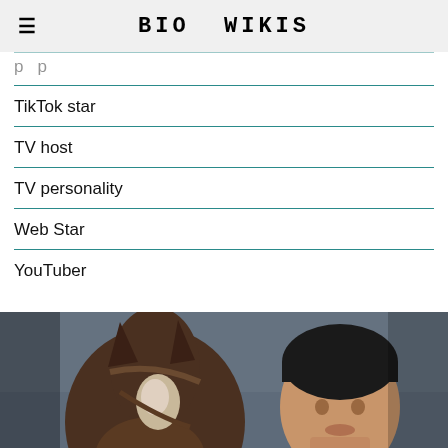BIO WIKIS
TikTok star
TV host
TV personality
Web Star
YouTuber
[Figure (photo): A man standing beside a horse, outdoors with a muted sky background. Text overlay reads PREVIOUS STORY.]